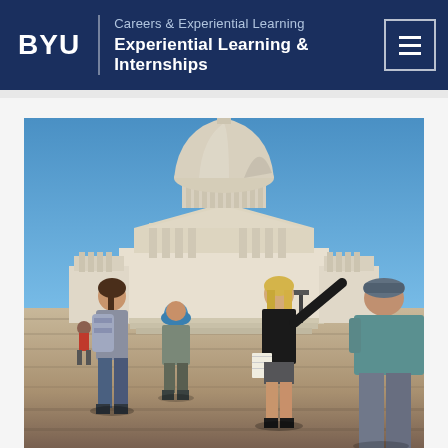BYU | Careers & Experiential Learning | Experiential Learning & Internships
[Figure (photo): Students standing in front of the US Capitol building in Washington DC. A woman with blonde hair is pointing toward the Capitol building while holding papers. Other students with backpacks are looking toward the Capitol. The scene is on a sunny day with a clear blue sky.]